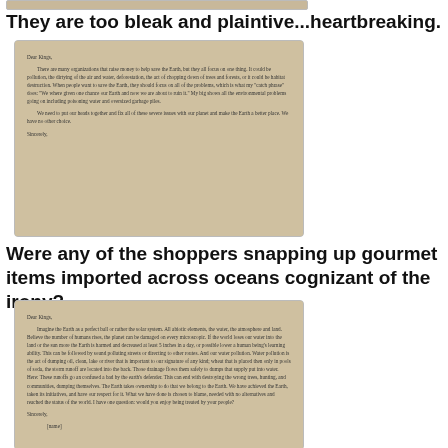[Figure (photo): Top portion of a photograph showing a handwritten or typed letter, cropped at top of page]
They are too bleak and plaintive...heartbreaking.
[Figure (photo): Photograph of a typed letter beginning with 'Dear Kings,' discussing environmental problems including pollution, deforestation, and garbage, ending with 'Sincerely,']
Were any of the shoppers snapping up gourmet items imported across oceans cognizant of the irony?
[Figure (photo): Photograph of another typed letter beginning with 'Dear Kings,' discussing Earth's damage, pollution, human behavior and stewardship of the planet, ending with 'Sincerely, [name]']